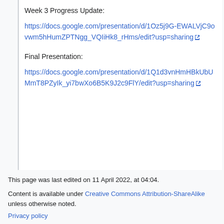Week 3 Progress Update:
https://docs.google.com/presentation/d/1Oz5j9G-EWALVjC9ovwm5hHumZPTNgg_VQIiHk8_rHms/edit?usp=sharing
Final Presentation:
https://docs.google.com/presentation/d/1Q1d3vnHmHBkUbUMmT8PZyIk_yi7bwXo6B5K9J2c9FlY/edit?usp=sharing
This page was last edited on 11 April 2022, at 04:04.
Content is available under Creative Commons Attribution-ShareAlike unless otherwise noted.
Privacy policy
About MAE/ECE 148 - Introduction to Autonomous Vehicles